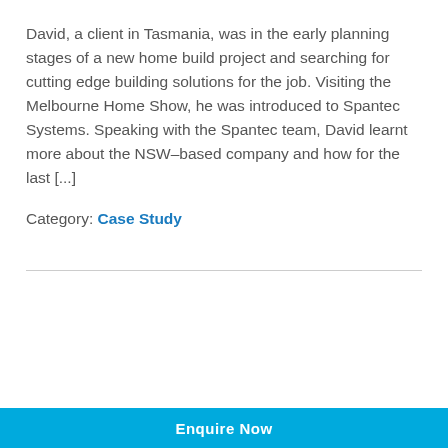David, a client in Tasmania, was in the early planning stages of a new home build project and searching for cutting edge building solutions for the job. Visiting the Melbourne Home Show, he was introduced to Spantec Systems. Speaking with the Spantec team, David learnt more about the NSW-based company and how for the last [...]
Category: Case Study
Enquire Now